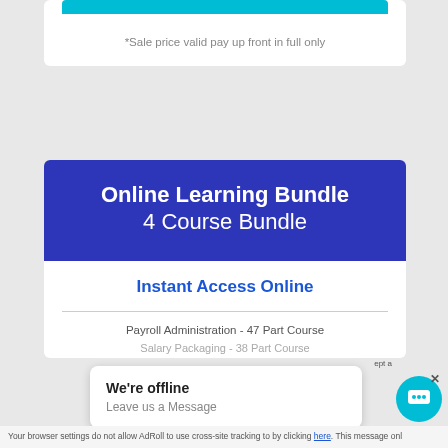*Sale price valid pay up front in full only
Online Learning Bundle
4 Course Bundle
Instant Access Online
Payroll Administration - 47 Part Course
Salary Packaging - 38 Part Course
We're offline
Leave us a Message
Your browser settings do not allow AdRoll to use cross-site tracking to by clicking here. This message onl